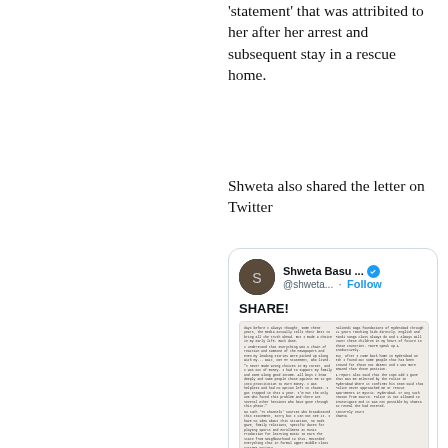'statement' that was attribited to her after her arrest and subsequent stay in a rescue home.
Shweta also shared the letter on Twitter
[Figure (screenshot): Embedded tweet from @shweta... (Shweta Basu ...) with verified checkmark and Follow button, showing 'SHARE!' text and an embedded image of a letter. Timestamp: 12:07 PM · Dec 7, 2014]